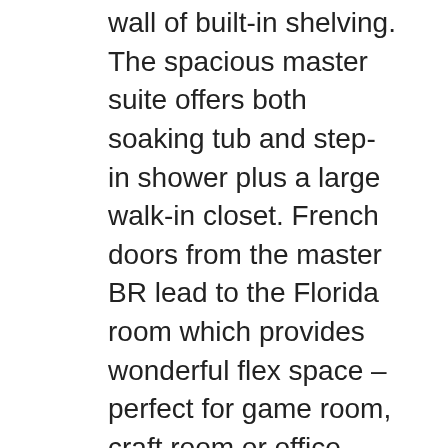wall of built-in shelving. The spacious master suite offers both soaking tub and step-in shower plus a large walk-in closet. French doors from the master BR lead to the Florida room which provides wonderful flex space – perfect for game room, craft room or office. Exit the Florida room to enjoy your private, tropical backyard with a custom, designer mosaic patio – a true work of art! A full width, retractable awning allows you to enjoy sun or cool shade – includes removable screening. More things to love about this home – Extra insulation and solar film on every window for very economical utility bills, 3 linen closets plus coat closet = fantastic storage, entire house re-plumbed, garage is over-sized, beautifully